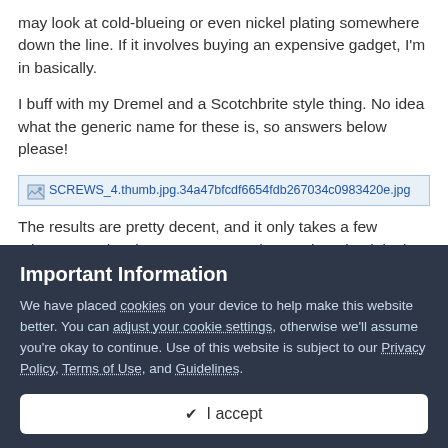may look at cold-blueing or even nickel plating somewhere down the line. If it involves buying an expensive gadget, I'm in basically.
I buff with my Dremel and a Scotchbrite style thing. No idea what the generic name for these is, so answers below please!
[Figure (photo): Broken/missing image placeholder: SCREWS_4.thumb.jpg.34a47bfcdf6654fdb267034c0983420e.jpg]
The results are pretty decent, and it only takes a few minutes. It takes longer to unscrew/screw them back in than buffing them 🙂
[Figure (photo): Broken/missing image placeholder: SCREWS_5.thumb.jpg.9ccd977ef802e62f7ff0b93c6dfdf8a9.jpg]
Important Information
We have placed cookies on your device to help make this website better. You can adjust your cookie settings, otherwise we'll assume you're okay to continue. Use of this website is subject to our Privacy Policy, Terms of Use, and Guidelines.